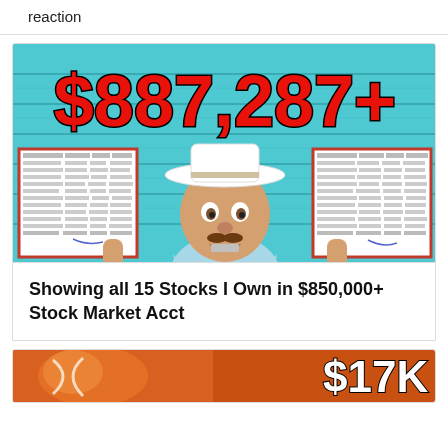reaction
[Figure (photo): YouTube thumbnail showing a man in a white cowboy hat holding two stock market spreadsheets, with large red text '$887,287+' overlaid on a teal wood-plank background.]
Showing all 15 Stocks I Own in $850,000+ Stock Market Acct
[Figure (photo): Partial YouTube thumbnail showing what appears to be a basketball or sports-related image with '$17K' text visible in red/white on the right side.]